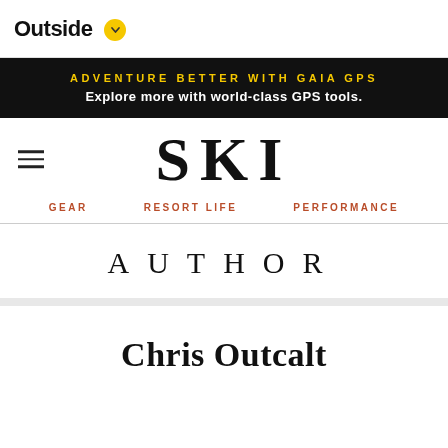Outside
ADVENTURE BETTER WITH GAIA GPS
Explore more with world-class GPS tools.
SKI
GEAR  RESORT LIFE  PERFORMANCE
AUTHOR
Chris Outcalt